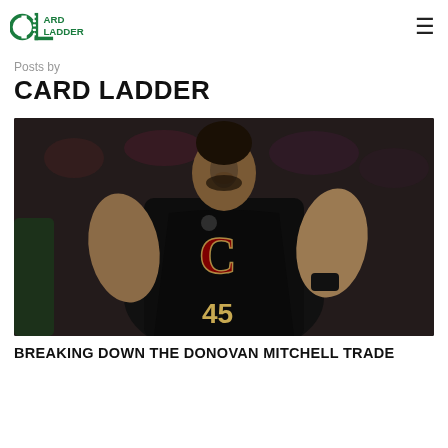Card Ladder
Posts by
CARD LADDER
[Figure (photo): Basketball player wearing Cleveland Cavaliers black jersey number 45 (Donovan Mitchell) celebrating, arms flexed, mouth open, crowd in background]
BREAKING DOWN THE DONOVAN MITCHELL TRADE